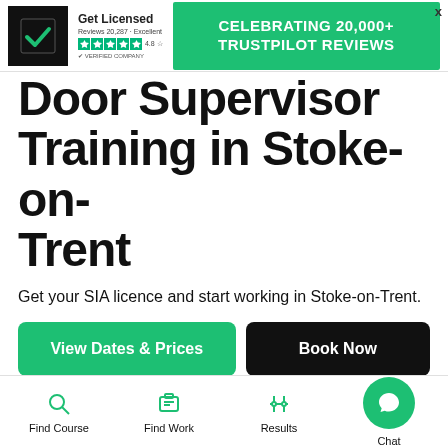[Figure (logo): Get Licensed logo banner with Trustpilot reviews and green celebrating banner]
Door Supervisor Training in Stoke-on-Trent
Get your SIA licence and start working in Stoke-on-Trent.
View Dates & Prices | Book Now
Find Course | Find Work | Results | Chat